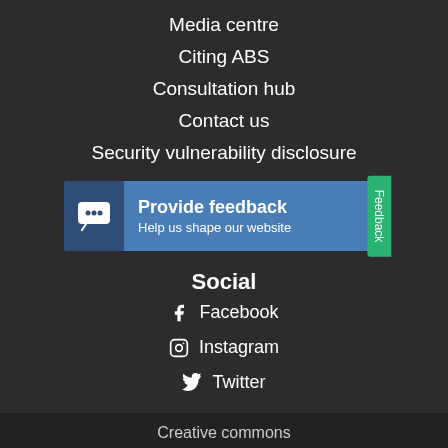Media centre
Citing ABS
Consultation hub
Contact us
Security vulnerability disclosure
[Figure (infographic): Provide feedback banner with chat icon, title 'Provide feedback', subtitle 'Help us shape our website', and a green 'Feedback' tab on the right side.]
Social
Facebook
Instagram
Twitter
Creative commons